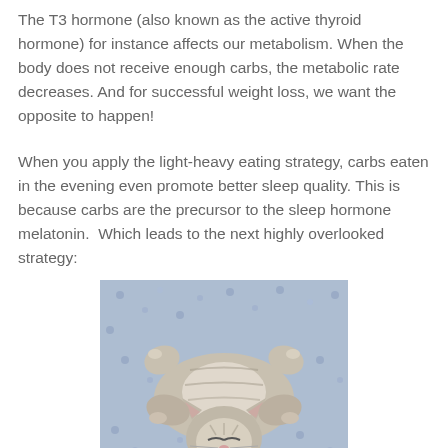The T3 hormone (also known as the active thyroid hormone) for instance affects our metabolism. When the body does not receive enough carbs, the metabolic rate decreases. And for successful weight loss, we want the opposite to happen!
When you apply the light-heavy eating strategy, carbs eaten in the evening even promote better sleep quality. This is because carbs are the precursor to the sleep hormone melatonin.  Which leads to the next highly overlooked strategy:
[Figure (photo): A kitten lying on its back on a blue floral fabric, appearing to be sleeping or relaxed, with paws up in the air.]